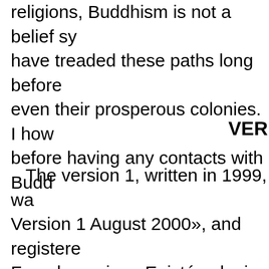religions, Buddhism is not a belief sy... have treaded these paths long before... even their prosperous colonies. I how... before having any contacts with Budd...
VER
The version 1, written in 1999, wa... Version 1 August 2000», and registere... French version «Epistémologie Génér... However the «online publishing»... sold only some copies of this book.... editors to realize that they have an op...